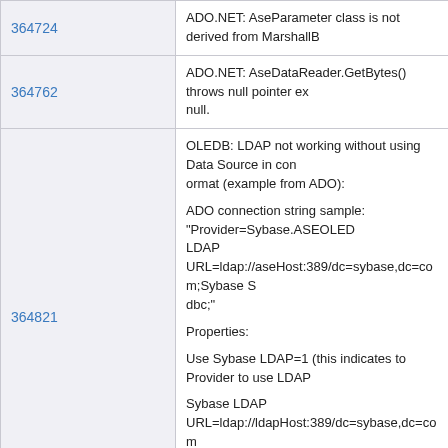| ID | Description |
| --- | --- |
| 364724 | ADO.NET: AseParameter class is not derived from MarshallB... |
| 364762 | ADO.NET: AseDataReader.GetBytes() throws null pointer exc... null. |
| 364821 | OLEDB: LDAP not working without using Data Source in con... ormat (example from ADO):

ADO connection string sample: "Provider=Sybase.ASEOLED... LDAP URL=ldap://aseHost:389/dc=sybase,dc=com;Sybase S... dbc;"

Properties:

Use Sybase LDAP=1 (this indicates to Provider to use LDAP...

Sybase LDAP URL=ldap://ldapHost:389/dc=sybase,dc=com...

Sybase Server Name=ase1252 (ase server name as defined... |
| 364878 | ODBC: Request for sp_password execution on login, when p... |
| 365010 | Procedure with decimal/numeric output parameters do not wo... |
| 365054 | srv_xferdata returns error 16324 when return NULL integer p... |
| 365140 | Our documentation does not show how to use SYBCLOS (SY... |
| 365179 | sp_sql_type_name failing accessing datatypes on a VIEW or... |
|  | ODBC: Release home grown Sybase Adaptive Server Ente... |